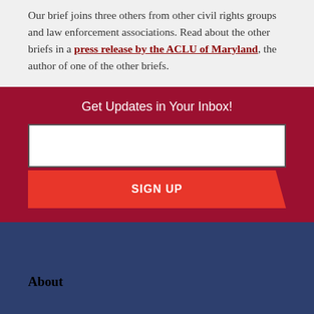Our brief joins three others from other civil rights groups and law enforcement associations. Read about the other briefs in a press release by the ACLU of Maryland, the author of one of the other briefs.
Get Updates in Your Inbox!
About